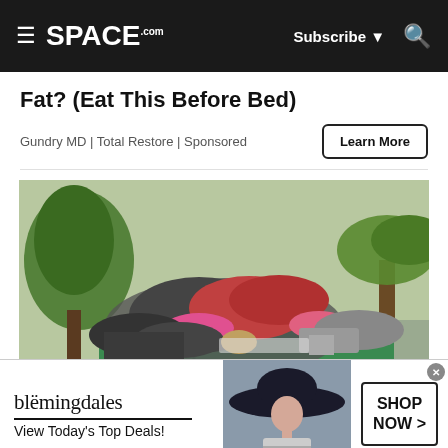SPACE.com | Subscribe | Search
Fat? (Eat This Before Bed)
Gundry MD | Total Restore | Sponsored
[Figure (photo): A large green dumpster overflowing with bags, clothing, and miscellaneous junk, outdoors with palm trees and greenery in the background.]
[Figure (photo): Bloomingdales advertisement banner: logo text 'bloomingdales', tagline 'View Today's Top Deals!', with a woman in a wide-brim hat and a 'SHOP NOW >' button.]